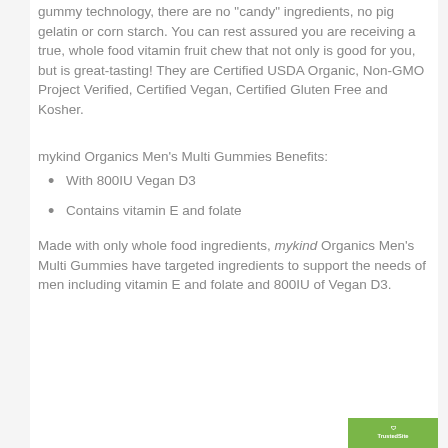gummy technology, there are no "candy" ingredients, no pig gelatin or corn starch. You can rest assured you are receiving a true, whole food vitamin fruit chew that not only is good for you, but is great-tasting! They are Certified USDA Organic, Non-GMO Project Verified, Certified Vegan, Certified Gluten Free and Kosher.
mykind Organics Men's Multi Gummies Benefits:
With 800IU Vegan D3
Contains vitamin E and folate
Made with only whole food ingredients, mykind Organics Men's Multi Gummies have targeted ingredients to support the needs of men including vitamin E and folate and 800IU of Vegan D3.
[Figure (logo): TrustedSite badge in green]